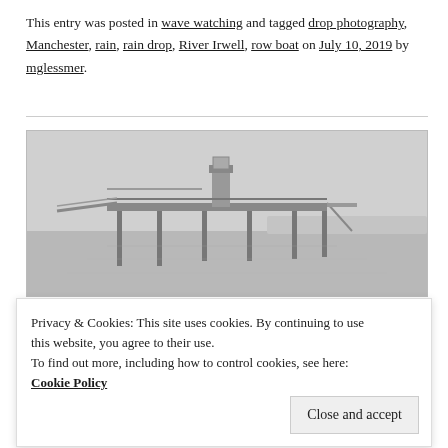This entry was posted in wave watching and tagged drop photography, Manchester, rain, rain drop, River Irwell, row boat on July 10, 2019 by mglessmer.
[Figure (photo): Black and white photo of a pier or dock structure over calm water, with a tall observation tower/booth, metal railings and stairs visible, overcast sky and distant shoreline in background.]
Privacy & Cookies: This site uses cookies. By continuing to use this website, you agree to their use.
To find out more, including how to control cookies, see here: Cookie Policy